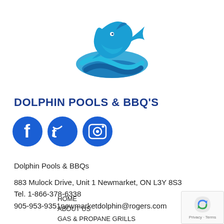[Figure (logo): Dolphin logo: a blue dolphin leaping over stylized blue waves in a circular arrangement]
DOLPHIN POOLS & BBQ'S
[Figure (logo): Three social media icons: Facebook, Twitter, Instagram — all in blue circles]
Dolphin Pools & BBQs
883 Mulock Drive, Unit 1 Newmarket, ON L3Y 8S3
Tel. 1-866-378-6338
905-953-9351newmarketdolphin@rogers.com
HOME
ABOUT US
GAS & PROPANE GRILLS